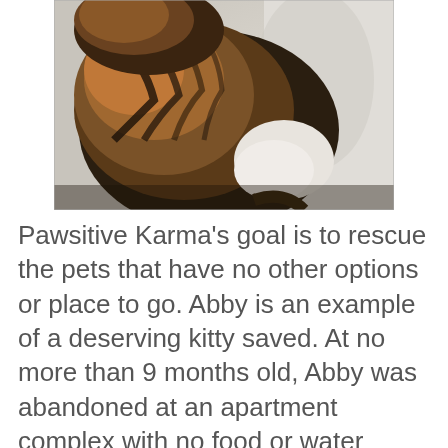[Figure (photo): A tabby cat viewed from behind, sitting and facing a light gray wall. The cat has brown, black, and orange striped fur on its back.]
Pawsitive Karma’s goal is to rescue the pets that have no other options or place to go. Abby is an example of a deserving kitty saved. At no more than 9 months old, Abby was abandoned at an apartment complex with no food or water source. Over time she became an apartment favorite and